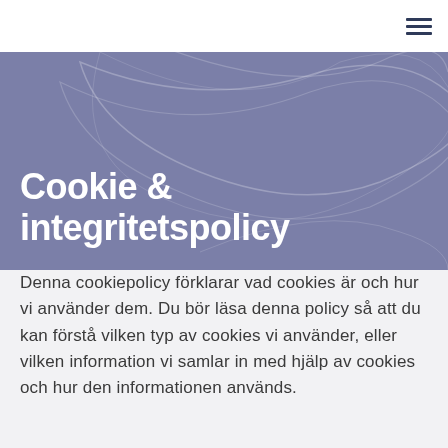[Figure (illustration): Navigation bar with hamburger menu icon (three horizontal lines) at top right]
Cookie & integritetspolicy
Denna cookiepolicy förklarar vad cookies är och hur vi använder dem. Du bör läsa denna policy så att du kan förstå vilken typ av cookies vi använder, eller vilken information vi samlar in med hjälp av cookies och hur den informationen används.